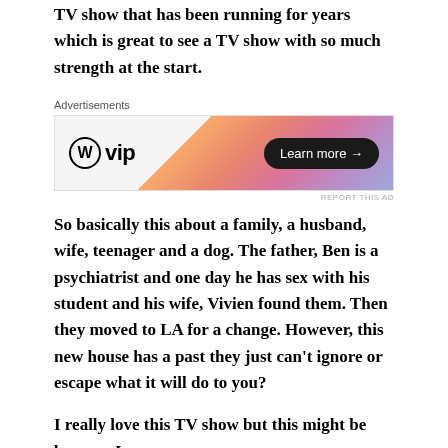TV show that has been running for years which is great to see a TV show with so much strength at the start.
[Figure (other): WordPress VIP advertisement banner with orange/pink gradient background and 'Learn more →' button]
So basically this about a family, a husband, wife, teenager and a dog. The father, Ben is a psychiatrist and one day he has sex with his student and his wife, Vivien found them. Then they moved to LA for a change. However, this new house has a past they just can't ignore or escape what it will do to you?
I really love this TV show but this might be because I